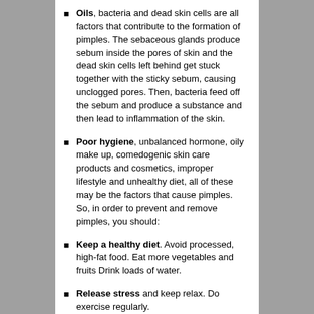Oils, bacteria and dead skin cells are all factors that contribute to the formation of pimples. The sebaceous glands produce sebum inside the pores of skin and the dead skin cells left behind get stuck together with the sticky sebum, causing unclogged pores. Then, bacteria feed off the sebum and produce a substance and then lead to inflammation of the skin.
Poor hygiene, unbalanced hormone, oily make up, comedogenic skin care products and cosmetics, improper lifestyle and unhealthy diet, all of these may be the factors that cause pimples. So, in order to prevent and remove pimples, you should:
Keep a healthy diet. Avoid processed, high-fat food. Eat more vegetables and fruits Drink loads of water.
Release stress and keep relax. Do exercise regularly.